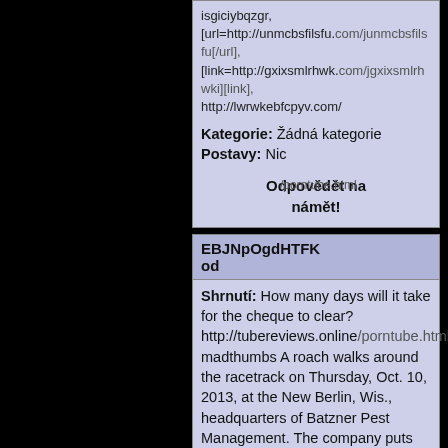isgiciybqzgr, [url=http://unmcbsfilsfu.com/junmcbsfilsfu[/url], [link=http://gxixsmlrhwk.com/jgxixsmlrhwki][link], http://lwrwkebfcpyv.com/
Kategorie: Žádná kategorie
Postavy: Nic
Odpovědět na námět!
EBJNpOgdHTFK od
Shrnutí: How many days will it take for the cheque to clear? http://tubereviews.online/porntube.html madthumbs A roach walks around the racetrack on Thursday, Oct. 10, 2013, at the New Berlin, Wis., headquarters of Batzner Pest Management. The company puts on roach races every year as part of their customer service week. Each one has a different number painted on it. (AP Photo/Carrie Antlfinger).